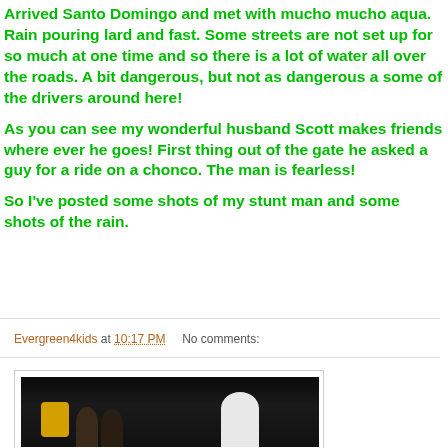Arrived Santo Domingo and met with mucho mucho aqua. Rain pouring lard and fast. Some streets are not set up for so much at one time and so there is a lot of water all over the roads. A bit dangerous, but not as dangerous a some of the drivers around here!
As you can see my wonderful husband Scott makes friends where ever he goes! First thing out of the gate he asked a guy for a ride on a chonco. The man is fearless!
So I've posted some shots of my stunt man and some shots of the rain.
Evergreen4kids at 10:17 PM   No comments:
[Figure (photo): Dark nighttime photo of a man in a white shirt with several other people]